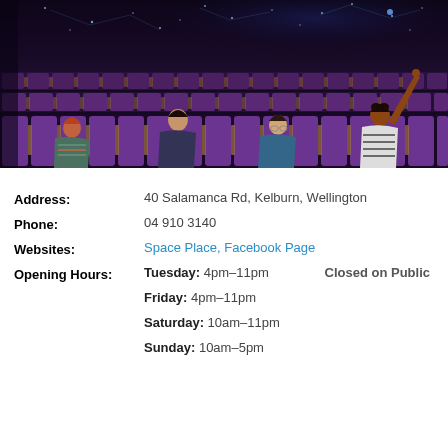[Figure (photo): Interior of a planetarium showing rows of purple/violet seats. Several people are reclined in the seats looking upward at the domed ceiling. One person on the right has their arm raised pointing upward. The dome ceiling has constellation/star projections visible.]
Address: 40 Salamanca Rd, Kelburn, Wellington
Phone: 04 910 3140
Websites: Space Place, Facebook Page
Opening Hours: Tuesday: 4pm–11pm  Closed on Public  Friday: 4pm–11pm  Saturday: 10am–11pm  Sunday: 10am–5pm